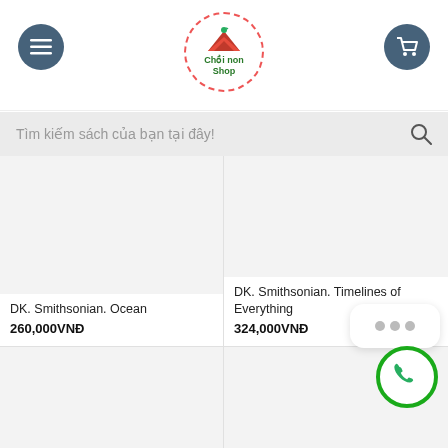Chồi non Shop — navigation header with menu, logo, and cart
Tìm kiếm sách của bạn tại đây!
DK. Smithsonian. Ocean
260,000VNĐ
DK. Smithsonian. Timelines of Everything
324,000VNĐ